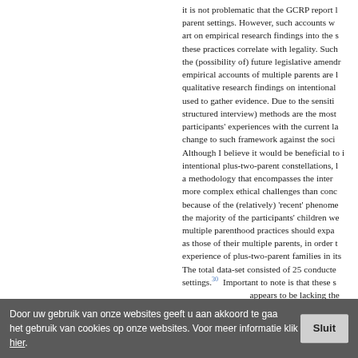it is not problematic that the GCRP report l parent settings. However, such accounts w art on empirical research findings into the s these practices correlate with legality. Such the (possibility of) future legislative amendr empirical accounts of multiple parents are l qualitative research findings on intentional used to gather evidence. Due to the sensiti structured interview) methods are the most participants' experiences with the current la change to such framework against the soci Although I believe it would be beneficial to i intentional plus-two-parent constellations, l a methodology that encompasses the inter more complex ethical challenges than conc because of the (relatively) 'recent' phenome the majority of the participants' children we multiple parenthood practices should expa as those of their multiple parents, in order t experience of plus-two-parent families in its The total data-set consisted of 25 conducte settings.³⁰ Important to note is that these s appears to be lacking the prerequisite of
Door uw gebruik van onze websites geeft u aan akkoord te gaa het gebruik van cookies op onze websites. Voor meer informatie klik hier.